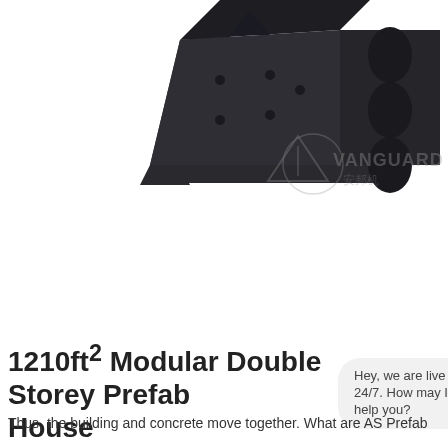[Figure (photo): Dark grey industrial machine (likely a jaw crusher or impact crusher) shown from above and side angle, partially cropped. Machine has heavy steel construction with cylindrical components visible on the right side. A watermark reading 'VANGUARD / 安邦机' is visible in the lower right of the image.]
1210ft² Modular Double Storey Prefab House
Hey, we are live 24/7. How may I help you?
Thus, the building and concrete move together. What are AS Prefab